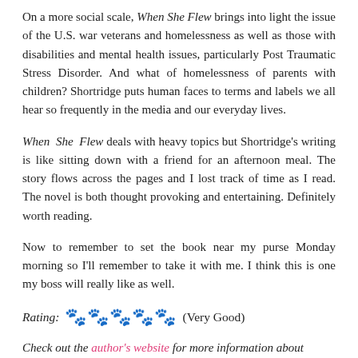On a more social scale, When She Flew brings into light the issue of the U.S. war veterans and homelessness as well as those with disabilities and mental health issues, particularly Post Traumatic Stress Disorder. And what of homelessness of parents with children? Shortridge puts human faces to terms and labels we all hear so frequently in the media and our everyday lives.
When She Flew deals with heavy topics but Shortridge's writing is like sitting down with a friend for an afternoon meal. The story flows across the pages and I lost track of time as I read. The novel is both thought provoking and entertaining. Definitely worth reading.
Now to remember to set the book near my purse Monday morning so I'll remember to take it with me. I think this is one my boss will really like as well.
Rating: 🐾🐾🐾🐾🐾 (Very Good)
Check out the author's website for more information about